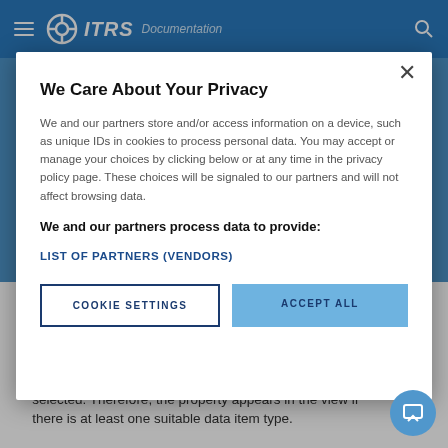ITRS Documentation
We Care About Your Privacy
We and our partners store and/or access information on a device, such as unique IDs in cookies to process personal data. You may accept or manage your choices by clicking below or at any time in the privacy policy page. These choices will be signaled to our partners and will not affect browsing data.
We and our partners process data to provide:
LIST OF PARTNERS (VENDORS)
COOKIE SETTINGS
ACCEPT ALL
A grey check mark indicates that the property is available, but not selected. Therefore, property does not appear in the view.
A green check mark indicates that it is available and selected. Therefore, the property appears in the view if there is at least one suitable data item type.